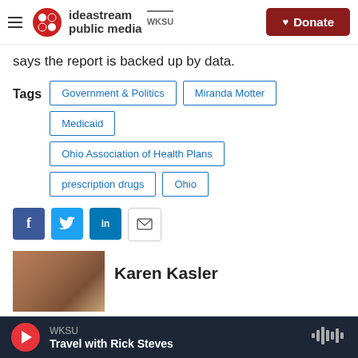ideastream public media WKSU | Donate
says the report is backed up by data.
Tags: Government & Politics, Miranda Motter, Medicaid, Ohio Association of Health Plans, prescription drugs, Ohio
[Figure (other): Social share buttons: Facebook, Twitter, LinkedIn, Email]
[Figure (photo): Author photo of Karen Kasler]
Karen Kasler
WKSU — Travel with Rick Steves